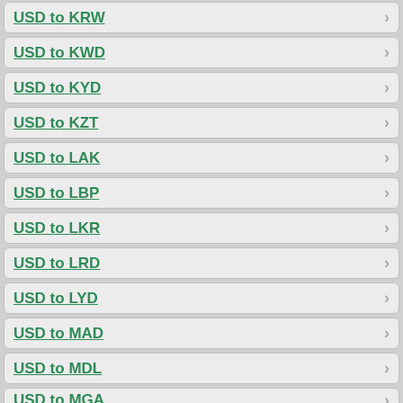USD to KRW
USD to KWD
USD to KYD
USD to KZT
USD to LAK
USD to LBP
USD to LKR
USD to LRD
USD to LYD
USD to MAD
USD to MDL
USD to MGA